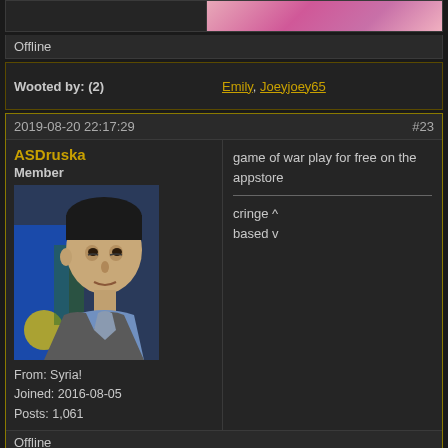[Figure (screenshot): Top partial forum post section showing a partial avatar image (pink/figure) on the right side]
Offline
Wooted by: (2)
Emily, Joeyjoey65
2019-08-20 22:17:29
#23
ASDruska
Member
[Figure (photo): Profile photo of a man in a suit with a blue and yellow flag in background (Bashar al-Assad)]
From: Syria!
Joined: 2016-08-05
Posts: 1,061
game of war play for free on the appstore
cringe ^
based v
Offline
Wooted by: (10)
PTU, Emily, Joeyjoey65,